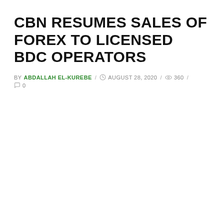CBN RESUMES SALES OF FOREX TO LICENSED BDC OPERATORS
BY ABDALLAH EL-KUREBE / AUGUST 28, 2020 / 360 / 0